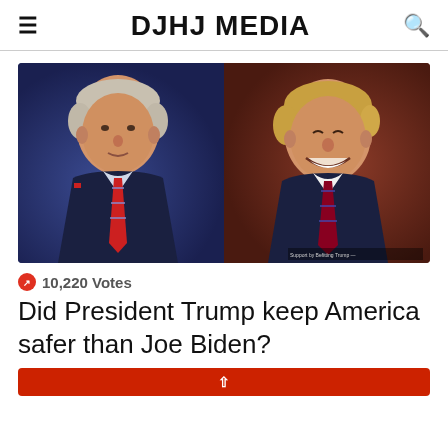DJHJ MEDIA
[Figure (photo): Side-by-side portrait photos of Joe Biden (left, blue background) and Donald Trump (right, red/brown background)]
10,220 Votes
Did President Trump keep America safer than Joe Biden?